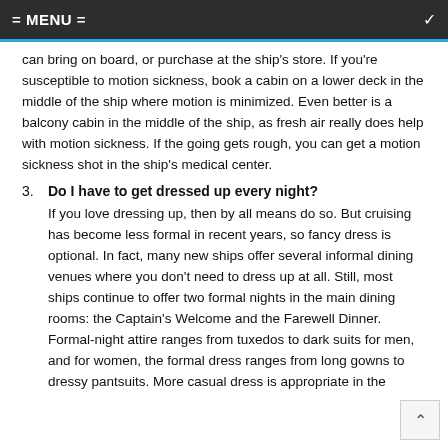= MENU =
can bring on board, or purchase at the ship's store. If you're susceptible to motion sickness, book a cabin on a lower deck in the middle of the ship where motion is minimized. Even better is a balcony cabin in the middle of the ship, as fresh air really does help with motion sickness. If the going gets rough, you can get a motion sickness shot in the ship's medical center.
3. Do I have to get dressed up every night?
If you love dressing up, then by all means do so. But cruising has become less formal in recent years, so fancy dress is optional. In fact, many new ships offer several informal dining venues where you don't need to dress up at all. Still, most ships continue to offer two formal nights in the main dining rooms: the Captain's Welcome and the Farewell Dinner. Formal-night attire ranges from tuxedos to dark suits for men, and for women, the formal dress ranges from long gowns to dressy pantsuits. More casual dress is appropriate in the